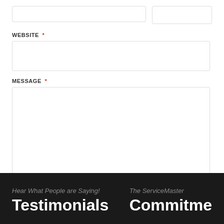WEBSITE *
MESSAGE *
Submit Comment
Hear What People are Saying!
Testimonials
The ServiceMaster
Commitme